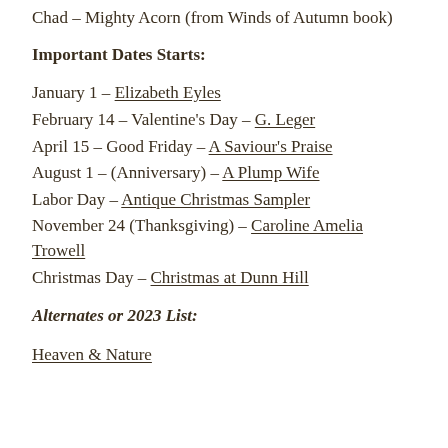Chad – Mighty Acorn (from Winds of Autumn book)
Important Dates Starts:
January 1 – Elizabeth Eyles
February 14 – Valentine's Day – G. Leger
April 15 – Good Friday – A Saviour's Praise
August 1 – (Anniversary) – A Plump Wife
Labor Day – Antique Christmas Sampler
November 24 (Thanksgiving) – Caroline Amelia Trowell
Christmas Day – Christmas at Dunn Hill
Alternates or 2023 List:
Heaven & Nature